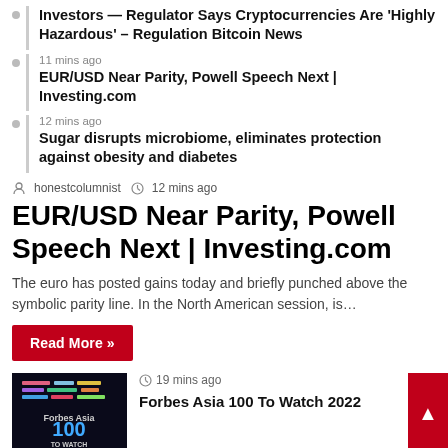Investors — Regulator Says Cryptocurrencies Are 'Highly Hazardous' – Regulation Bitcoin News
11 mins ago
EUR/USD Near Parity, Powell Speech Next | Investing.com
12 mins ago
Sugar disrupts microbiome, eliminates protection against obesity and diabetes
honestcolumnist  12 mins ago
EUR/USD Near Parity, Powell Speech Next | Investing.com
The euro has posted gains today and briefly punched above the symbolic parity line. In the North American session, is…
Read More »
19 mins ago
Forbes Asia 100 To Watch 2022